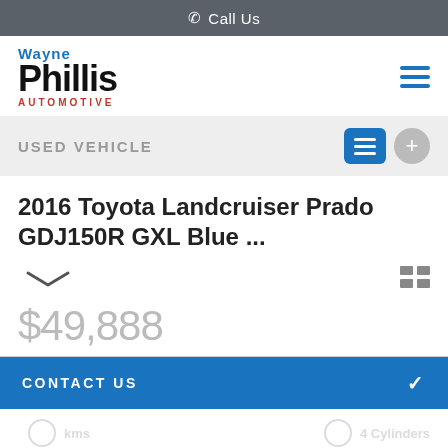Call Us
[Figure (logo): Wayne Phillis Automotive logo with blue 'Wayne', black bold 'Phillis', and red 'AUTOMOTIVE' text]
USED VEHICLE
2016 Toyota Landcruiser Prado GDJ150R GXL Blue ...
$49,888
CONTACT US
FINANCE THIS VEHICLE